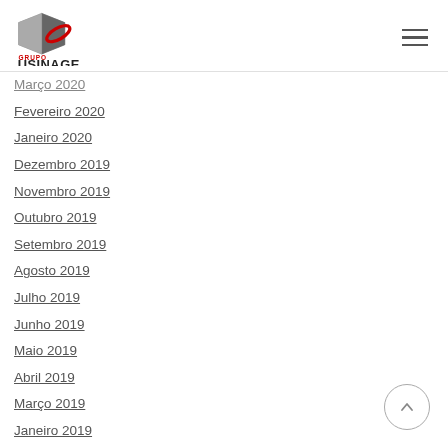Grupo Usinage logo and navigation menu
Março 2020
Fevereiro 2020
Janeiro 2020
Dezembro 2019
Novembro 2019
Outubro 2019
Setembro 2019
Agosto 2019
Julho 2019
Junho 2019
Maio 2019
Abril 2019
Março 2019
Janeiro 2019
Dezembro 2018
Novembro 2018
Outubro 2018
Setembro 2018